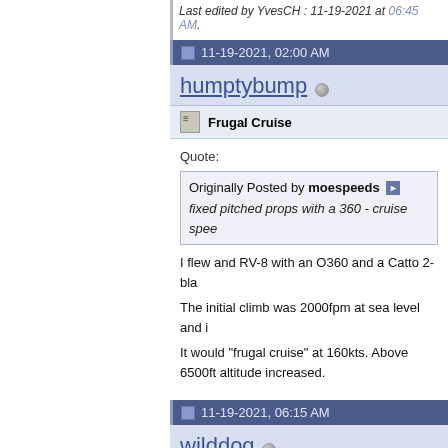Last edited by YvesCH : 11-19-2021 at 06:45 AM.
11-19-2021, 02:00 AM
humptybump
Frugal Cruise
Quote:
Originally Posted by moespeeds
fixed pitched props with a 360 - cruise spee
I flew and RV-8 with an O360 and a Catto 2-bla
The initial climb was 2000fpm at sea level and i
It would "frugal cruise" at 160kts. Above 6500ft altitude increased.
11-19-2021, 06:15 AM
wilddog